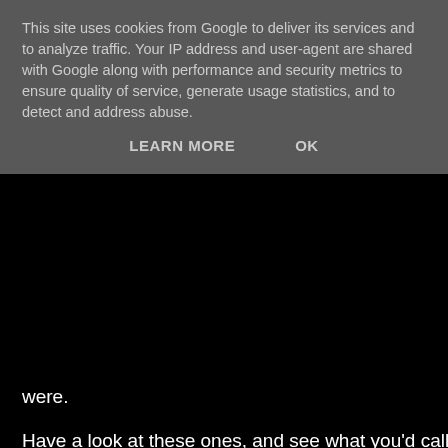This site uses cookies from Google to deliver its services and to analyze traffic. Your IP address and user-agent are shared with Google along with performance and security metrics to ensure quality of service, generate usage statistics, and to detect and address abuse.
LEARN MORE    OK
were.
Have a look at these ones, and see what you'd call them:
Another Year
Never Talk to Strangers
Gareth D Jones at 12:04 pm    No comments:
Share
Wednesday, February 04, 2009
More Reading